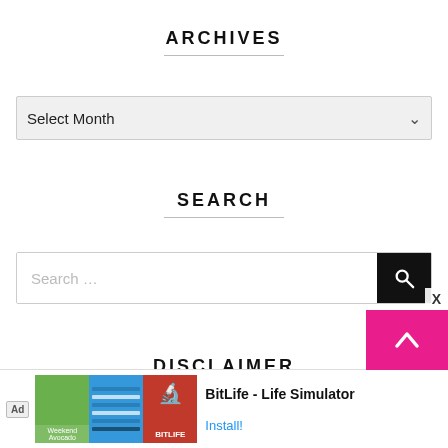ARCHIVES
Select Month
SEARCH
Search ...
DISCLAIMER
[Figure (screenshot): Mobile advertisement banner for BitLife - Life Simulator app with install button]